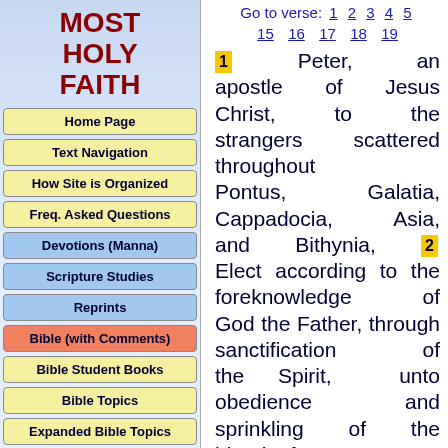MOST HOLY FAITH
Home Page
Text Navigation
How Site is Organized
Freq. Asked Questions
Devotions (Manna)
Scripture Studies
Reprints
Bible (with Comments)
Bible Student Books
Bible Topics
Expanded Bible Topics
Bible Student Webs
Miscellaneous
Go to verse: 1 2 3 4 5 15 16 17 18 19
1 Peter, an apostle of Jesus Christ, to the strangers scattered throughout Pontus, Galatia, Cappadocia, Asia, and Bithynia, 2 Elect according to the foreknowledge of God the Father, through sanctification of the Spirit, unto obedience and sprinkling of the blood of Jesus